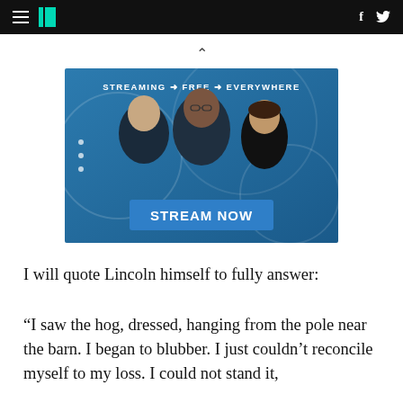HuffPost navigation with hamburger menu, logo, Facebook and Twitter icons
[Figure (screenshot): Advertisement banner showing three news anchors on a blue background with text 'STREAMING → FREE → EVERYWHERE' at top and 'STREAM NOW' button overlay in blue]
I will quote Lincoln himself to fully answer:
“I saw the hog, dressed, hanging from the pole near the barn. I began to blubber. I just couldn’t reconcile myself to my loss. I could not stand it,